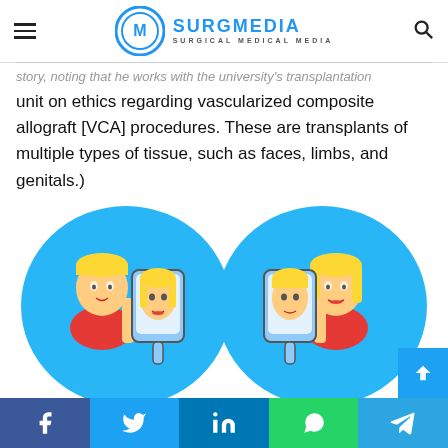SURGMEDIA — Surgical Medical Media
story, noting that he works with the university's transplantation unit on ethics regarding vascularized composite allograft [VCA] procedures. These are transplants of multiple types of tissue, such as faces, limbs, and genitals.)
[Figure (illustration): Illustration showing two blue oval shapes connected by an H-shaped connector. Left oval contains a man with short blond hair in a red shirt holding a mirror showing a woman's face. Right oval contains a woman with long blond hair in a red outfit holding a mirror showing a man's face. The image depicts face transplant concept.]
Social sharing bar: Facebook, Twitter, LinkedIn, WhatsApp, Telegram